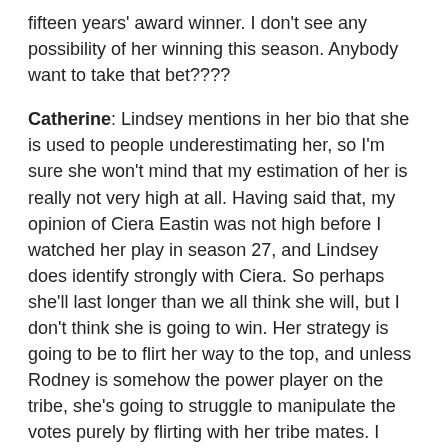fifteen years' award winner. I don't see any possibility of her winning this season. Anybody want to take that bet????
Catherine: Lindsey mentions in her bio that she is used to people underestimating her, so I'm sure she won't mind that my estimation of her is really not very high at all. Having said that, my opinion of Ciera Eastin was not high before I watched her play in season 27, and Lindsey does identify strongly with Ciera. So perhaps she'll last longer than we all think she will, but I don't think she is going to win. Her strategy is going to be to flirt her way to the top, and unless Rodney is somehow the power player on the tribe, she's going to struggle to manipulate the votes purely by flirting with her tribe mates. I think she'll have a much better showing than some other tattooed/single Mom/hairdressers. This Lindsey will actually attempt to play the game. However, I still expect to see her as a pre-merge boot.
Dan: I hate it when we all agree! My first impression from Lindsey is that she hasn't seen much of Survivor. Her